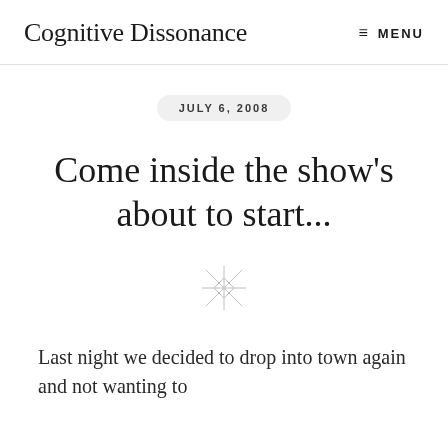Cognitive Dissonance  ≡ MENU
JULY 6, 2008
Come inside the show's about to start...
[Figure (illustration): Decorative star/cross divider symbol]
Last night we decided to drop into town again and not wanting to